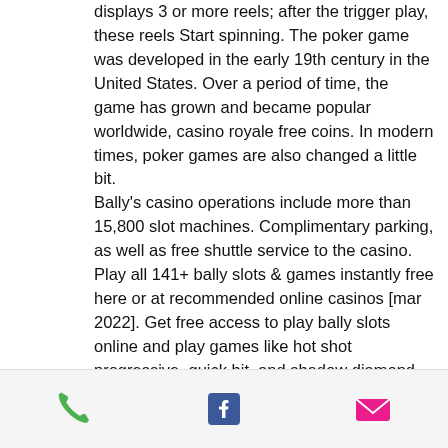displays 3 or more reels; after the trigger play, these reels Start spinning. The poker game was developed in the early 19th century in the United States. Over a period of time, the game has grown and became popular worldwide, casino royale free coins. In modern times, poker games are also changed a little bit. Bally's casino operations include more than 15,800 slot machines. Complimentary parking, as well as free shuttle service to the casino. Play all 141+ bally slots &amp; games instantly free here or at recommended online casinos [mar 2022]. Get free access to play bally slots online and play games like hot shot progressive, quick hit, and shadow diamond with no registration required! Take a seat at our slot machines at bally's kansas city casino and enjoy your
[Figure (infographic): Footer bar with three icons: green phone icon, dark blue Facebook icon, and pink/magenta email envelope icon]